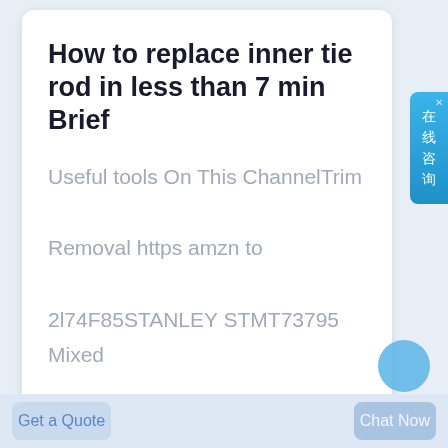How to replace inner tie rod in less than 7 min Brief
Useful tools On This ChannelTrim Removal https amzn to 2l74F85STANLEY STMT73795 Mixed Tool Set 210 Piece https amzn to 2ln3yRJScrewdriver https amz
Get a Quote
Chat Now